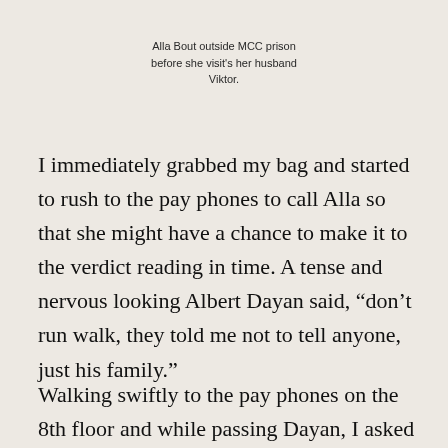Alla Bout outside MCC prison before she visit's her husband Viktor.
I immediately grabbed my bag and started to rush to the pay phones to call Alla so that she might have a chance to make it to the verdict reading in time. A tense and nervous looking Albert Dayan said, “don’t run walk, they told me not to tell anyone, just his family.”
Walking swiftly to the pay phones on the 8th floor and while passing Dayan, I asked him,